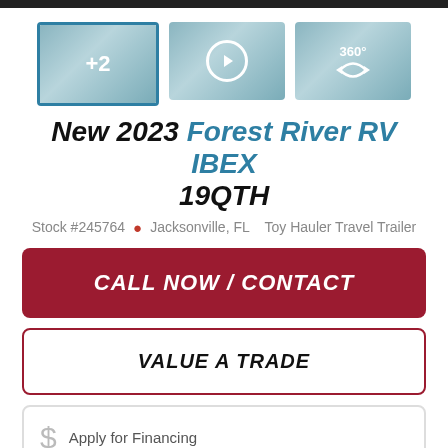[Figure (photo): Three thumbnail images of an RV interior: first selected with +2 overlay, second with play button overlay, third with 360° overlay]
New 2023 Forest River RV IBEX 19QTH
Stock #245764  Jacksonville, FL  Toy Hauler Travel Trailer
CALL NOW / CONTACT
VALUE A TRADE
$ Apply for Financing